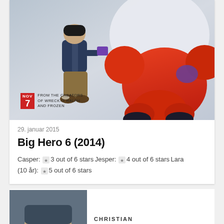[Figure (photo): Movie poster for Big Hero 6 (2014) showing a small boy character and a large red armored robot Baymax. Bottom left shows 'NOV 7' badge and text 'FROM THE CREATORS OF WRECK-IT RALPH AND FROZEN'.]
29. januar 2015
Big Hero 6 (2014)
Casper: 3 out of 6 stars Jesper: 4 out of 6 stars Lara (10 år): 5 out of 6 stars
[Figure (photo): Partial view of a person's face and the beginning of text 'CHRISTIAN']